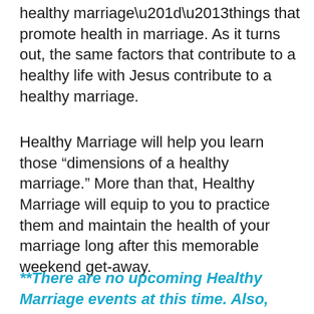healthy marriage”–things that promote health in marriage. As it turns out, the same factors that contribute to a healthy life with Jesus contribute to a healthy marriage.
Healthy Marriage will help you learn those “dimensions of a healthy marriage.” More than that, Healthy Marriage will equip to you to practice them and maintain the health of your marriage long after this memorable weekend get-away.
**There are no upcoming Healthy Marriage events at this time. Also,